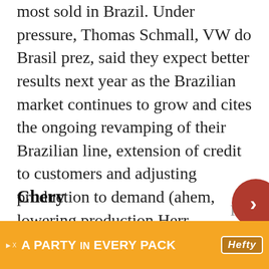most sold in Brazil. Under pressure, Thomas Schmall, VW do Brasil prez, said they expect better results next year as the Brazilian market continues to grow and cites the ongoing revamping of their Brazilian line, extension of credit to customers and adjusting production to demand (ahem, lowering production Herr Schmall) as key to profitability and growth in this country.
Chery
Chinese Chery continues to promise to pop Brazili... (sorry, irresistible) and showe... R$1.2...
[Figure (other): Orange advertisement banner reading 'A PARTY in EVERY PACK' with Hefty logo and skip/close controls]